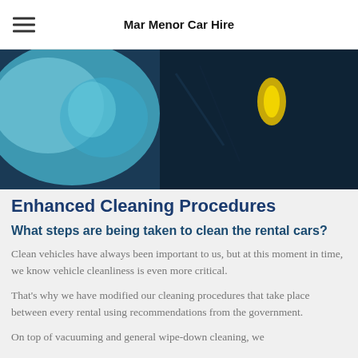Mar Menor Car Hire
[Figure (photo): Close-up photo of a gloved hand cleaning a car interior, with a yellow cleaning tool visible against dark upholstery, blue-tinted lighting]
Enhanced Cleaning Procedures
What steps are being taken to clean the rental cars?
Clean vehicles have always been important to us, but at this moment in time, we know vehicle cleanliness is even more critical.
That's why we have modified our cleaning procedures that take place between every rental using recommendations from the government.
On top of vacuuming and general wipe-down cleaning, we